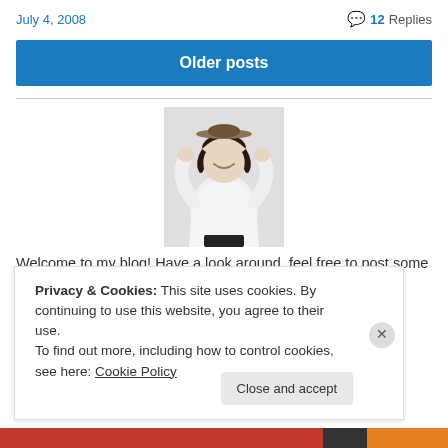July 4, 2008    💬 12 Replies
Older posts
[Figure (photo): A woman in a white top with arms raised, balancing a hat on her head, smiling at the camera against a light background.]
Welcome to my blog! Have a look around, feel free to post some comments and tell me what you think
Privacy & Cookies: This site uses cookies. By continuing to use this website, you agree to their use.
To find out more, including how to control cookies, see here: Cookie Policy